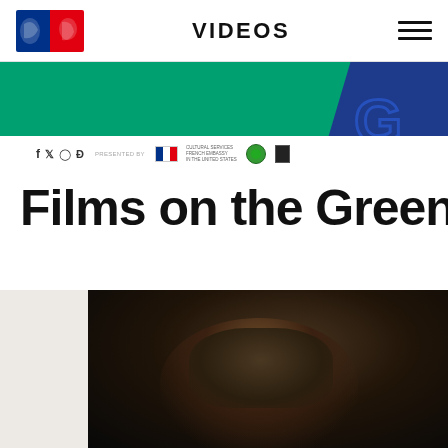VIDEOS
[Figure (screenshot): French Embassy Cultural Services website banner with green and blue design, showing social media icons (Facebook, Twitter, Instagram, TikTok), PRESENTEDBY text, French flag logo, Cultural Services French Embassy in the United States text, green seal logo, and small black logo]
Films on the Green 2021 Tra
[Figure (photo): Dark cinematic photo showing a person from behind against a dark background, appearing to be a film still or promotional image]